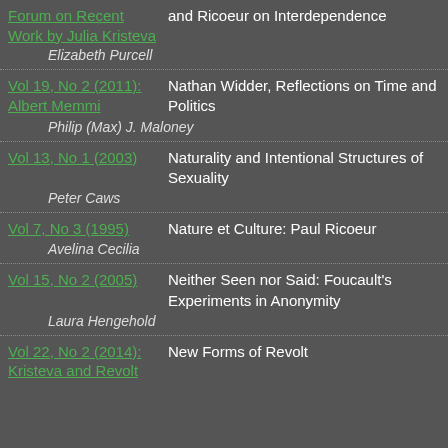Forum on Recent Work by Julia Kristeva | and Ricoeur on Interdependence | Elizabeth Purcell
Vol 19, No 2 (2011): Albert Memmi | Nathan Widder, Reflections on Time and Politics | Philip (Max) J. Maloney
Vol 13, No 1 (2003) | Naturality and Intentional Structures of Sexuality | Peter Caws
Vol 7, No 3 (1995) | Nature et Culture: Paul Ricoeur | Avelina Cecilia
Vol 15, No 2 (2005) | Neither Seen nor Said: Foucault's Experiments in Anonymity | Laura Hengehold
Vol 22, No 2 (2014): Kristeva and Revolt | New Forms of Revolt